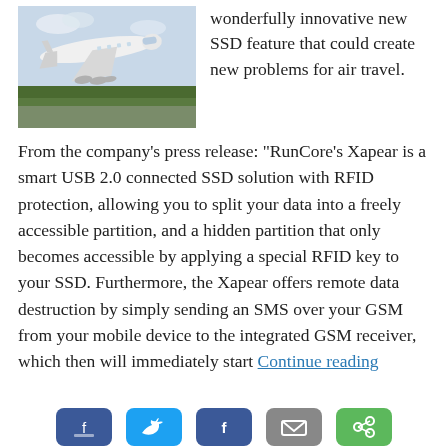[Figure (photo): Airplane (large white commercial jet) taking off or landing on a runway with trees in the background]
wonderfully innovative new SSD feature that could create new problems for air travel.
From the company’s press release: “RunCore’s Xapear is a smart USB 2.0 connected SSD solution with RFID protection, allowing you to split your data into a freely accessible partition, and a hidden partition that only becomes accessible by applying a special RFID key to your SSD. Furthermore, the Xapear offers remote data destruction by simply sending an SMS over your GSM from your mobile device to the integrated GSM receiver, which then will immediately start Continue reading
[Figure (infographic): Social media sharing buttons: blue (like/Facebook), blue (Twitter bird), dark blue (Facebook share), gray (email/other), green (another share option)]